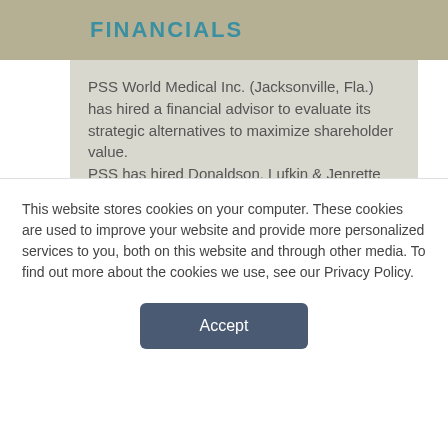FINANCIALS
PSS World Medical Inc. (Jacksonville, Fla.) has hired a financial advisor to evaluate its strategic alternatives to maximize shareholder value.
PSS has hired Donaldson, Lufkin & Jenrette Securities Corp. to investigate alternatives that could – in PSS' words – “involve the entire company or its separate operating divisions.”
In a prepared statement, PSS Chairman and CEO Patrick C. Kelly said that despite the success of the
This website stores cookies on your computer. These cookies are used to improve your website and provide more personalized services to you, both on this website and through other media. To find out more about the cookies we use, see our Privacy Policy.